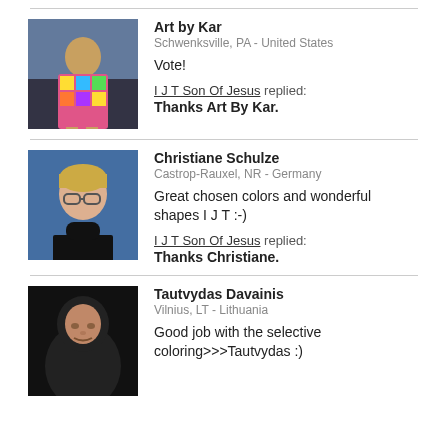[Figure (photo): Profile photo of Art by Kar – woman with colorful artwork]
Art by Kar
Schwenksville, PA - United States

Vote!

I J T Son Of Jesus replied:
Thanks Art By Kar.
[Figure (photo): Profile photo of Christiane Schulze – woman with short blonde hair]
Christiane Schulze
Castrop-Rauxel, NR - Germany

Great chosen colors and wonderful shapes I J T :-)

I J T Son Of Jesus replied:
Thanks Christiane.
[Figure (photo): Profile photo of Tautvydas Davainis – person in dark hoodie]
Tautvydas Davainis
Vilnius, LT - Lithuania

Good job with the selective coloring>>>Tautvydas :)